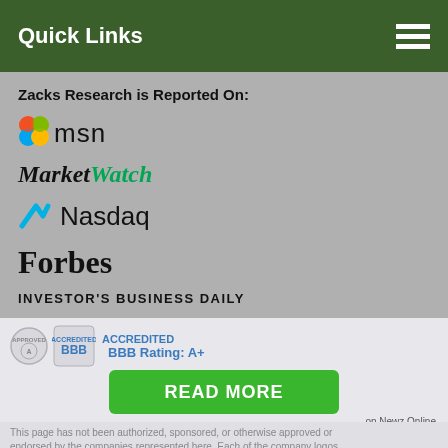Quick Links
Zacks Research is Reported On:
[Figure (logo): MSN logo with butterfly icon and 'msn' text]
[Figure (logo): MarketWatch logo in italic bold with 'Market' in black and 'Watch' in green]
[Figure (logo): Nasdaq logo with cyan N icon and 'Nasdaq' text]
[Figure (logo): Forbes logo in bold serif font]
[Figure (logo): Investor's Business Daily logo in small caps]
[Figure (logo): Morningstar logo in red bold font]
BBB Rating: A+
READ MORE
on Newz Online
This page has not been authorized, sponsored, or otherwise approved or endorsed by the companies represented here. Each of the company logos...